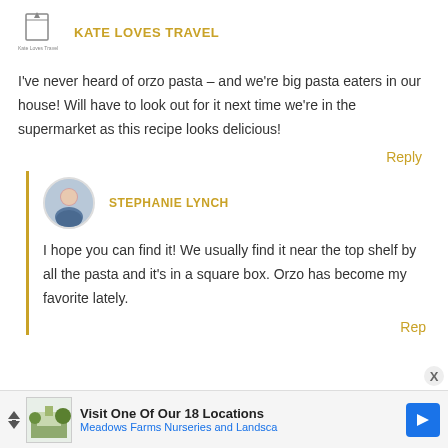KATE LOVES TRAVEL
I've never heard of orzo pasta – and we're big pasta eaters in our house! Will have to look out for it next time we're in the supermarket as this recipe looks delicious!
Reply
STEPHANIE LYNCH
I hope you can find it! We usually find it near the top shelf by all the pasta and it's in a square box. Orzo has become my favorite lately.
Rep...
Visit One Of Our 18 Locations
Meadows Farms Nurseries and Landsca